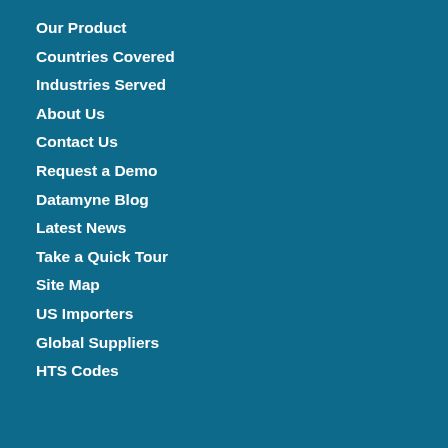Our Product
Countries Covered
Industries Served
About Us
Contact Us
Request a Demo
Datamyne Blog
Latest News
Take a Quick Tour
Site Map
US Importers
Global Suppliers
HTS Codes